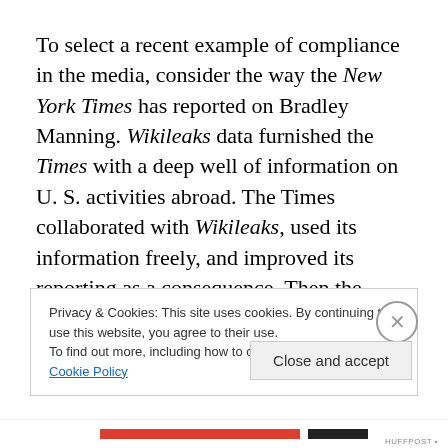To select a recent example of compliance in the media, consider the way the New York Times has reported on Bradley Manning. Wikileaks data furnished the Times with a deep well of information on U. S. activities abroad. The Times collaborated with Wikileaks, used its information freely, and improved its reporting as a consequence. Then the government came down on Wikileaks, shut off its funding, and tried to maneuver Julian Assange into a
Privacy & Cookies: This site uses cookies. By continuing to use this website, you agree to their use.
To find out more, including how to control cookies, see here: Cookie Policy
Close and accept